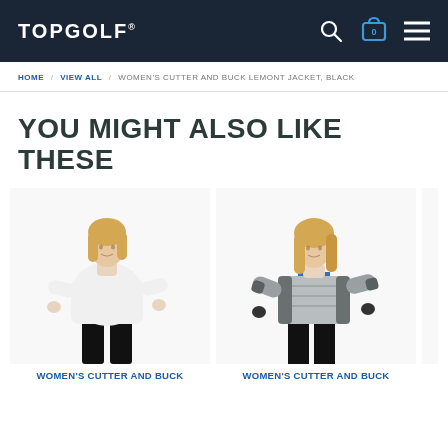TOPGOLF
HOME / VIEW ALL / WOMEN'S CUTTER AND BUCK LEMONT JACKET, BLACK
YOU MIGHT ALSO LIKE THESE
[Figure (photo): Woman wearing white long-sleeve hoodie/pullover top with black pants, standing against white background]
[Figure (photo): Woman wearing grey quilted/puffer jacket with blue shirt underneath and black pants, standing against white background]
WOMEN'S CUTTER AND BUCK
WOMEN'S CUTTER AND BUCK